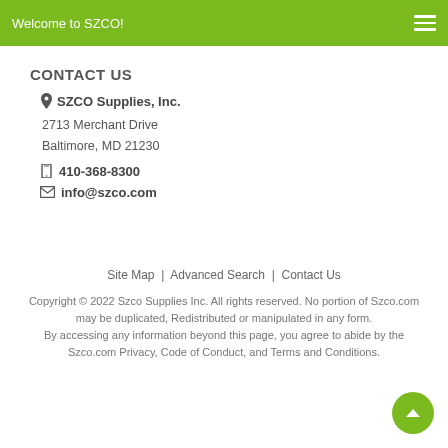Welcome to SZCO!
CONTACT US
SZCO Supplies, Inc.
2713 Merchant Drive
Baltimore, MD 21230
410-368-8300
info@szco.com
Site Map | Advanced Search | Contact Us
Copyright © 2022 Szco Supplies Inc. All rights reserved. No portion of Szco.com may be duplicated, Redistributed or manipulated in any form.
By accessing any information beyond this page, you agree to abide by the Szco.com Privacy, Code of Conduct, and Terms and Conditions.